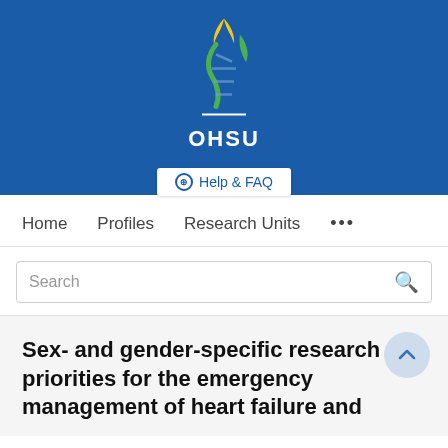[Figure (logo): OHSU logo with stylized DNA/flame graphic in blue, green, and yellow, with 'OHSU' text beneath a white underline on a blue background]
⊕ Help & FAQ
Home   Profiles   Research Units   •••
Search
Sex- and gender-specific research priorities for the emergency management of heart failure and